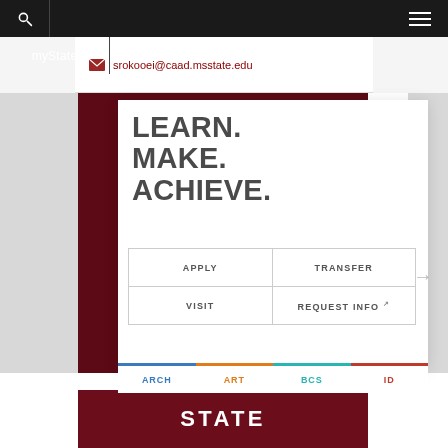myState
srokooei@caad.msstate.edu
LEARN.
MAKE.
ACHIEVE.
| APPLY | TRANSFER |
| VISIT | REQUEST INFO |
ARCH  ART  BCS  ID